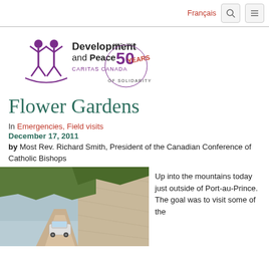Français
[Figure (logo): Development and Peace Caritas Canada logo with two figures and 50 Years of Solidarity badge]
Flower Gardens
In Emergencies, Field visits
December 17, 2011
by Most Rev. Richard Smith, President of the Canadian Conference of Catholic Bishops
[Figure (photo): A white SUV driving on a rugged mountain dirt road cut into a steep rocky hillside, with a valley visible in the background]
Up into the mountains today just outside of Port-au-Prince. The goal was to visit some of the